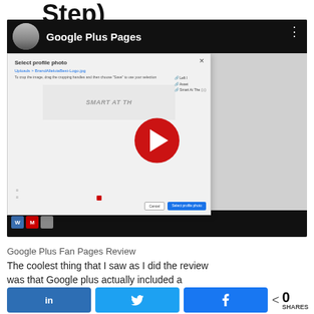Step)
[Figure (screenshot): YouTube-style video thumbnail showing a Google Plus Pages video with a dialog box for selecting a profile photo open over the player. The video title bar shows 'Google Plus Pages'. A red play button is centered. At the bottom is a dark browser taskbar strip.]
Google Plus Fan Pages Review
The coolest thing that I saw as I did the review was that Google plus actually included a
[Figure (infographic): Social sharing bar with LinkedIn, Twitter, and Facebook buttons, a share icon and 0 SHARES count.]